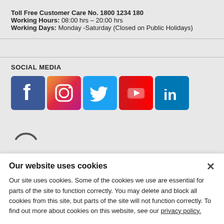Toll Free Customer Care No. 1800 1234 180
Working Hours: 08:00 hrs – 20:00 hrs
Working Days: Monday -Saturday (Closed on Public Holidays)
SOCIAL MEDIA
[Figure (infographic): Social media icons: Facebook, Instagram, Twitter, YouTube, LinkedIn]
[Figure (infographic): Loading spinner arc (partial circle)]
Our website uses cookies
Our site uses cookies. Some of the cookies we use are essential for parts of the site to function correctly. You may delete and block all cookies from this site, but parts of the site will not function correctly. To find out more about cookies on this website, see our privacy policy.